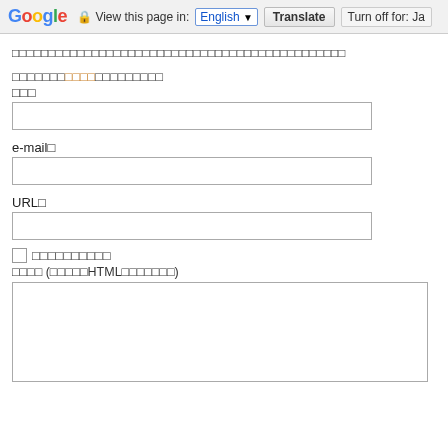Google  View this page in: English [▼]  Translate  Turn off for: Ja
（日本語のテキスト）コメントを記入してください
（日本語）お名前やニックネーム（オレンジ色強調部分）を入力
名前
e-mail（任意）
URL（任意）
□ （チェックボックスラベル）
コメント （このフォームではHTMLタグが使用できます）
（テキストエリア）